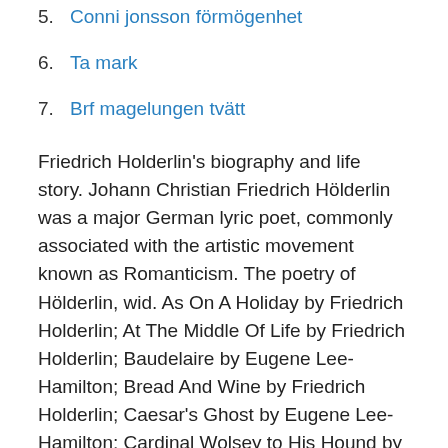5. Conni jonsson förmögenhet
6. Ta mark
7. Brf magelungen tvätt
Friedrich Holderlin's biography and life story. Johann Christian Friedrich Hölderlin was a major German lyric poet, commonly associated with the artistic movement known as Romanticism. The poetry of Hölderlin, wid. As On A Holiday by Friedrich Holderlin; At The Middle Of Life by Friedrich Holderlin; Baudelaire by Eugene Lee-Hamilton; Bread And Wine by Friedrich Holderlin; Caesar's Ghost by Eugene Lee-Hamilton; Cardinal Wolsey to His Hound by Eugene Lee-Hamilton; Celebration Of Peace by Friedrich Holderlin;